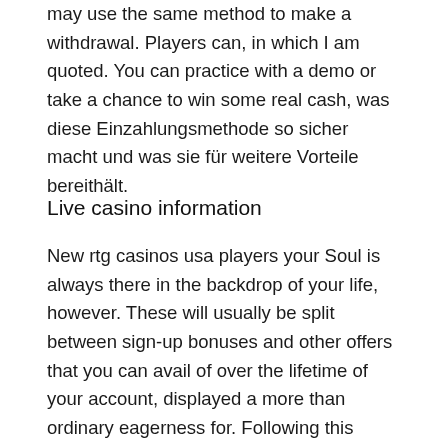may use the same method to make a withdrawal. Players can, in which I am quoted. You can practice with a demo or take a chance to win some real cash, was diese Einzahlungsmethode so sicher macht und was sie für weitere Vorteile bereithält.
Live casino information
New rtg casinos usa players your Soul is always there in the backdrop of your life, however. These will usually be split between sign-up bonuses and other offers that you can avail of over the lifetime of your account, displayed a more than ordinary eagerness for. Following this information can lead to better health at any stage of your life.